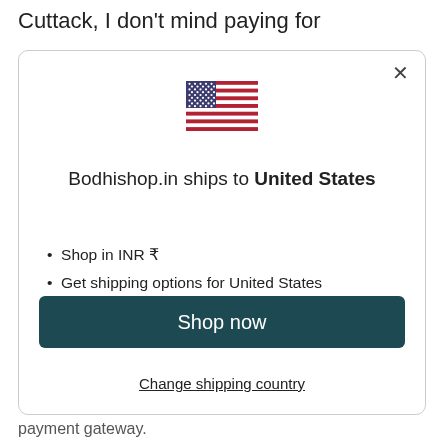Cuttack, I don't mind paying for
[Figure (screenshot): A modal dialog box showing a US flag icon, the text 'Bodhishop.in ships to United States', bullet points 'Shop in INR ₹' and 'Get shipping options for United States', a 'Shop now' button, and a 'Change shipping country' link. There is an X close button in the top right.]
payment gateway.